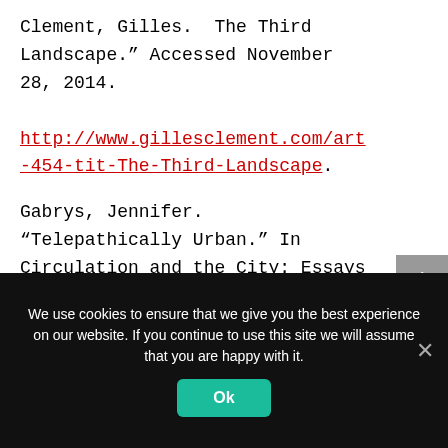Clement, Gilles. "The Third Landscape." Accessed November 28, 2014. http://www.gillesclement.com/art-454-tit-The-Third-Landscape.
Gabrys, Jennifer. "Telepathically Urban." In Circulation and the City: Essays on Urban Culture, edited by
We use cookies to ensure that we give you the best experience on our website. If you continue to use this site we will assume that you are happy with it.